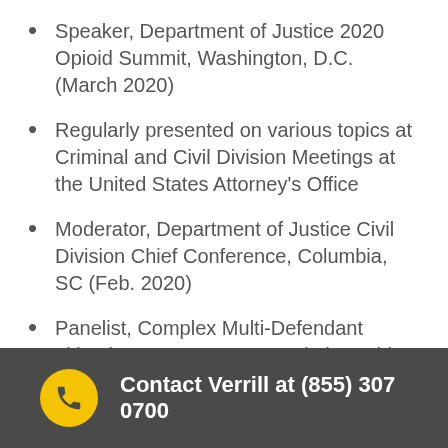Speaker, Department of Justice 2020 Opioid Summit, Washington, D.C. (March 2020)
Regularly presented on various topics at Criminal and Civil Division Meetings at the United States Attorney's Office
Moderator, Department of Justice Civil Division Chief Conference, Columbia, SC (Feb. 2020)
Panelist, Complex Multi-Defendant Litigation, Boston Bar Association White Collar Crime Conference (January 2020)
Speaker, Department of Justice Fraud Section Annual Conference, Washington, DC
Contact Verrill at (855) 307 0700